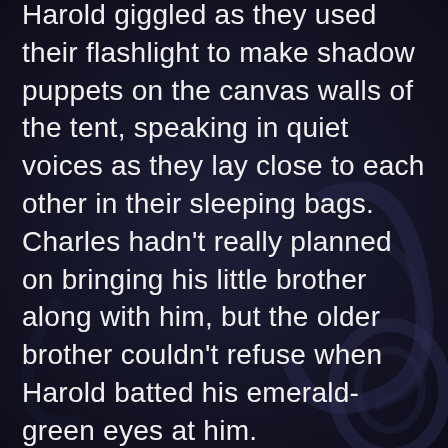Harold giggled as they used their flashlight to make shadow puppets on the canvas walls of the tent, speaking in quiet voices as they lay close to each other in their sleeping bags. Charles hadn't really planned on bringing his little brother along with him, but the older brother couldn't refuse when Harold batted his emerald-green eyes at him.
“I have to pee,” Charles said with a groan as he fought with the zipper on his sleeping bag. “I’ll be right back, Harry.”
“Huwwee, Chawie,” Harold replied, the smaller boy missing both of his front teeth.